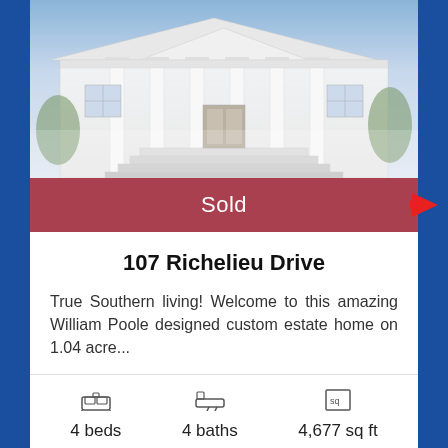[Figure (photo): Exterior photo of a large white Southern colonial estate home with columns and steps, shown partially cropped at top]
Sold
107 Richelieu Drive
True Southern living! Welcome to this amazing William Poole designed custom estate home on 1.04 acre...
4 beds   4 baths   4,677 sq ft
Virtual Tour